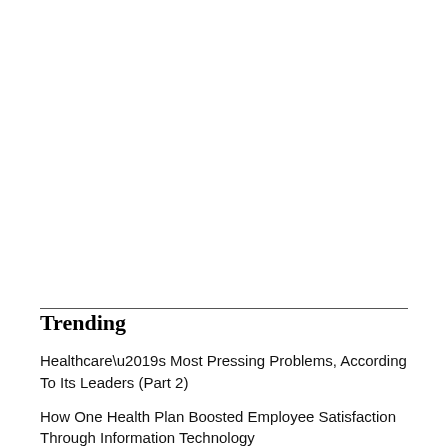Trending
Healthcare’s Most Pressing Problems, According To Its Leaders (Part 2)
How One Health Plan Boosted Employee Satisfaction Through Information Technology